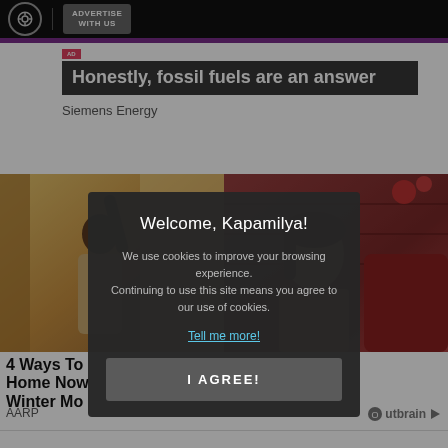ADVERTISE WITH US
[Figure (screenshot): Advertisement banner: 'Honestly, fossil fuels are an answer' by Siemens Energy]
Siemens Energy
[Figure (photo): Left photo: person opening curtains, warm golden light]
[Figure (photo): Right photo: smiling woman in restaurant setting]
4 Ways To Home Now Winter Mo
AARP
Bern s lives so
[Figure (logo): Outbrain logo]
Welcome, Kapamilya! We use cookies to improve your browsing experience. Continuing to use this site means you agree to our use of cookies. Tell me more! I AGREE!